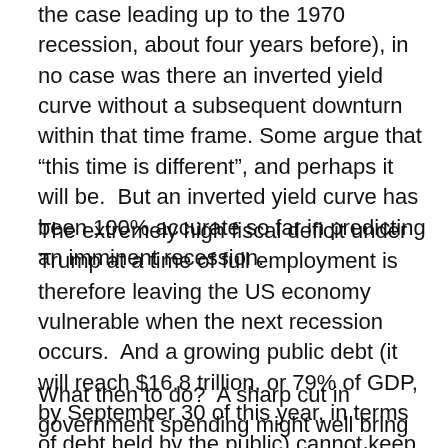the case leading up to the 1970 recession, about four years before), in no case was there an inverted yield curve without a subsequent downturn within that time frame. Some argue that “this time is different”, and perhaps it will be. But an inverted yield curve has been 100% accurate so far in predicting an imminent recession.
The extremely high fiscal deficit under Trump at a time of full employment is therefore leaving the US economy vulnerable when the next recession occurs. And a growing public debt (it will reach $16.8 trillion, or 79% of GDP, by September 30 of this year, in terms of debt held by the public) cannot keep growing forever.
What then to do? A sharp cut in government spending might well bring on the downturn that we are seeking to avoid. Plus government spending is critically needed in a